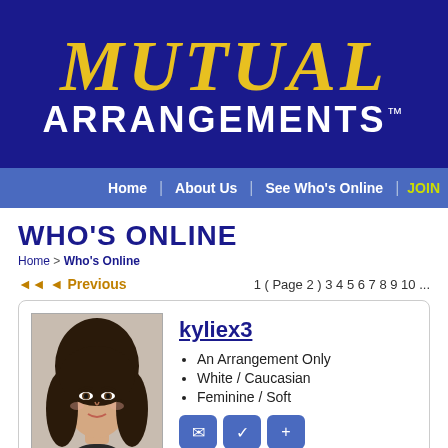[Figure (logo): Mutual Arrangements logo: gold italic MUTUAL text over white ARRANGEMENTS text on navy blue background]
Home | About Us | See Who's Online | JOIN
WHO'S ONLINE
Home > Who's Online
Previous  1 ( Page 2 ) 3 4 5 6 7 8 9 10 ...
[Figure (photo): Profile photo of a young woman with long dark hair]
kyliex3
An Arrangement Only
White / Caucasian
Feminine / Soft